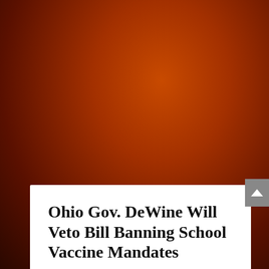[Figure (photo): Dark reddish-orange radial gradient background image, resembling a dramatic sky or abstract background.]
Ohio Gov. DeWine Will Veto Bill Banning School Vaccine Mandates
by Peter D'Abrosca | Dec 17, 2021